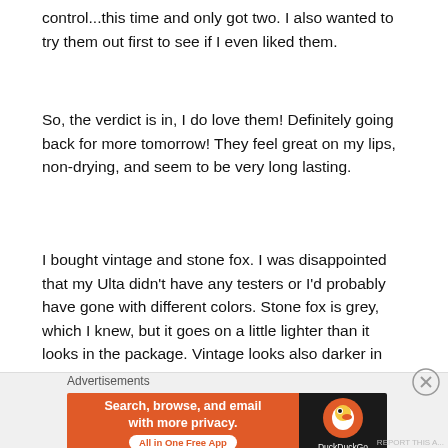control...this time and only got two. I also wanted to try them out first to see if I even liked them.
So, the verdict is in, I do love them! Definitely going back for more tomorrow! They feel great on my lips, non-drying, and seem to be very long lasting.
I bought vintage and stone fox. I was disappointed that my Ulta didn't have any testers or I'd probably have gone with different colors. Stone fox is grey, which I knew, but it goes on a little lighter than it looks in the package. Vintage looks also darker in the package but is lighter. I've been searching for a dark red, so I was hoping this one would be the answer to my prayers, but it's not.
Advertisements
[Figure (other): DuckDuckGo advertisement banner: orange background on left with text 'Search, browse, and email with more privacy. All in One Free App' and dark right panel with duck logo and DuckDuckGo brand name.]